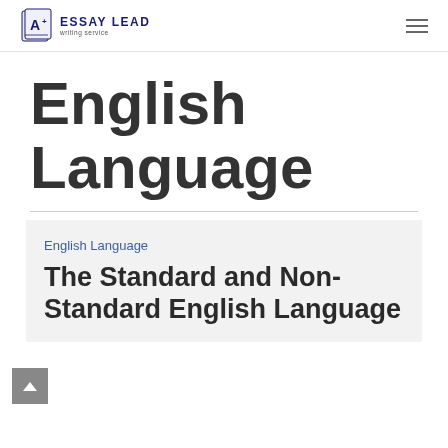ESSAY LEAD writing service
English Language
English Language
The Standard and Non-Standard English Language